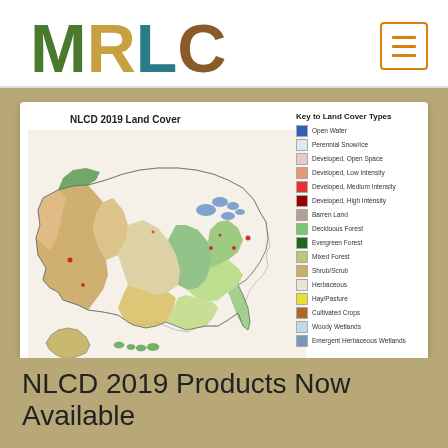MRLC
[Figure (map): NLCD 2019 Land Cover map of the contiguous United States showing various land cover types including Open Water, Perennial Snow/Ice, Developed areas (Open Space, Low Intensity, Medium Intensity, High Intensity), Barren Land, Deciduous Forest, Evergreen Forest, Mixed Forest, Shrub/Scrub, Herbaceous, Hay/Pasture, Cultivated Crops, Woody Wetlands, and Emergent Herbaceous Wetlands.]
NLCD 2019 Land Cover
NLCD 2019 Products Now Available